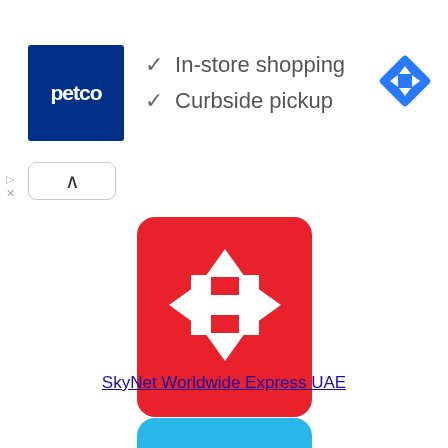[Figure (screenshot): Petco advertisement banner showing logo, checkmarks for In-store shopping and Curbside pickup, and a navigation icon]
✓ In-store shopping
✓ Curbside pickup
[Figure (logo): Nova Poshta (International) red square logo with white H and directional arrows]
Nova Poshta (International)
[Figure (logo): SkyNet Worldwide Express UAE red square logo with white SKYNET text]
SkyNet Worldwide Express UAE
[Figure (logo): DemandShip light blue rounded rectangle logo with white DemandShip text]